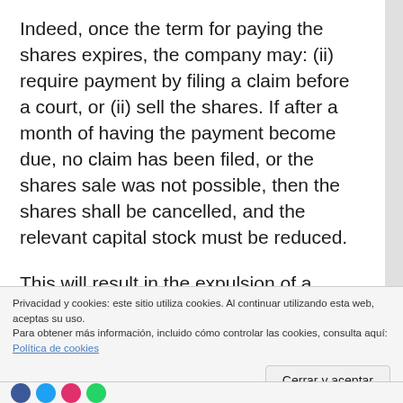Indeed, once the term for paying the shares expires, the company may: (ii) require payment by filing a claim before a court, or (ii) sell the shares. If after a month of having the payment become due, no claim has been filed, or the shares sale was not possible, then the shares shall be cancelled, and the relevant capital stock must be reduced.
This will result in the expulsion of a defaulter shareholder.
What happens after that a shareholder is expelled from a company? What happens if the partner is
Privacidad y cookies: este sitio utiliza cookies. Al continuar utilizando esta web, aceptas su uso.
Para obtener más información, incluido cómo controlar las cookies, consulta aquí: Política de cookies
Cerrar y aceptar